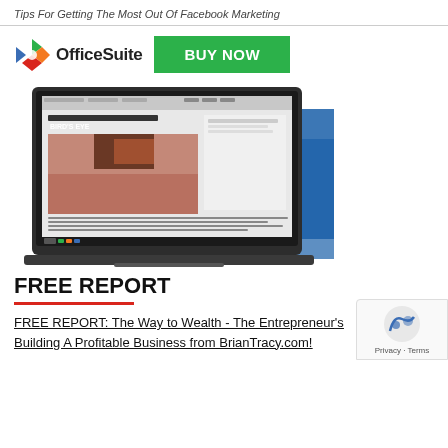Tips For Getting The Most Out Of Facebook Marketing
[Figure (screenshot): OfficeSuite advertisement with logo on left, green BUY NOW button on right, and a laptop showing a document with a bird's eye photo below]
FREE REPORT
FREE REPORT: The Way to Wealth - The Entrepreneur's Building A Profitable Business from BrianTracy.com!